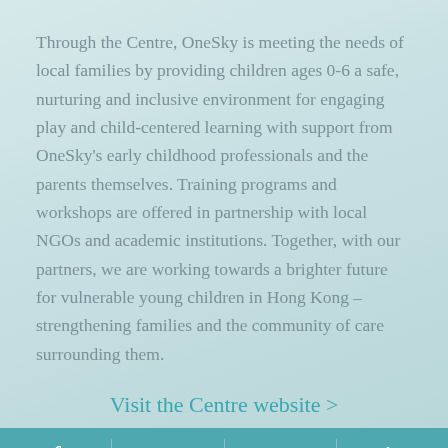Through the Centre, OneSky is meeting the needs of local families by providing children ages 0-6 a safe, nurturing and inclusive environment for engaging play and child-centered learning with support from OneSky's early childhood professionals and the parents themselves. Training programs and workshops are offered in partnership with local NGOs and academic institutions. Together, with our partners, we are working towards a brighter future for vulnerable young children in Hong Kong – strengthening families and the community of care surrounding them.
Visit the Centre website >
f  t  p  in